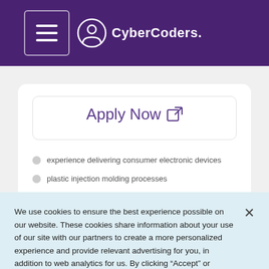CyberCoders
Apply Now
experience delivering consumer electronic devices
plastic injection molding processes
Mechanical design methods and principles
electronic design principles / practices
PCB development
We use cookies to ensure the best experience possible on our website. These cookies share information about your use of our site with our partners to create a more personalized experience and provide relevant advertising for you, in addition to web analytics for us. By clicking "Accept" or continuing to navigate our site, you agree to our use of cookies. For more information please see our Privacy Policy
Accept All Cookies